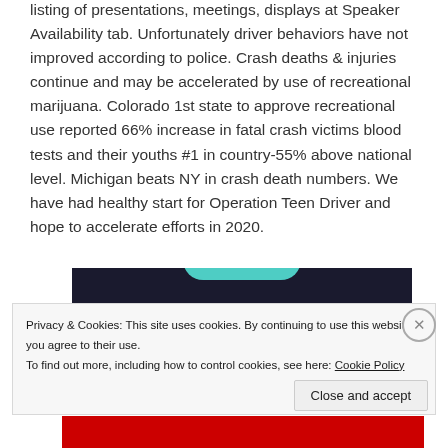listing of presentations, meetings, displays at Speaker Availability tab. Unfortunately driver behaviors have not improved according to police. Crash deaths & injuries continue and may be accelerated by use of recreational marijuana. Colorado 1st state to approve recreational use reported 66% increase in fatal crash victims blood tests and their youths #1 in country-55% above national level. Michigan beats NY in crash death numbers. We have had healthy start for Operation Teen Driver and hope to accelerate efforts in 2020.
[Figure (screenshot): Dark navy/black background image block with a teal curved element at top, partially visible website screenshot]
Privacy & Cookies: This site uses cookies. By continuing to use this website, you agree to their use.
To find out more, including how to control cookies, see here: Cookie Policy
Close and accept